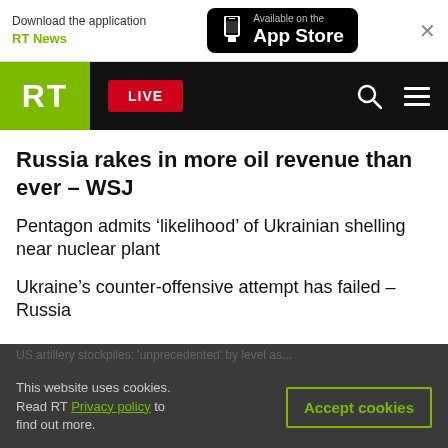Download the application RT News | Available on the App Store
RT LIVE
Russia rakes in more oil revenue than ever – WSJ
Pentagon admits 'likelihood' of Ukrainian shelling near nuclear plant
Ukraine's counter-offensive attempt has failed – Russia
This website uses cookies. Read RT Privacy policy to find out more.